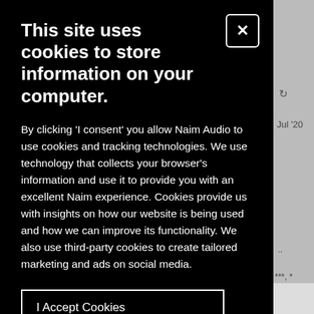This site uses cookies to store information on your computer.
By clicking 'I consent' you allow Naim Audio to use cookies and tracking technologies. We use technology that collects your browser's information and use it to provide you with an excellent Naim experience. Cookies provide us with insights on how our website is being used and how we can improve its functionality. We also use third-party cookies to create tailored marketing and ads on social media.
I Accept Cookies
I Do Not Accept Cookies